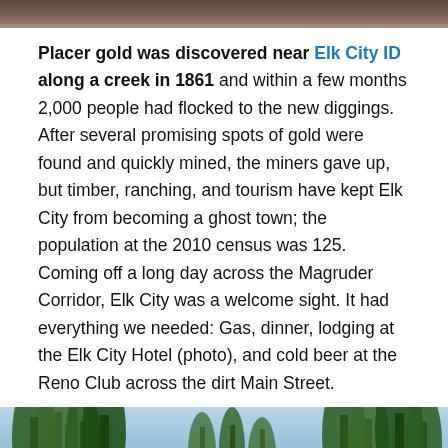[Figure (photo): Top portion of a photo, appears to show a dark/brown landscape or terrain]
Placer gold was discovered near Elk City ID along a creek in 1861 and within a few months 2,000 people had flocked to the new diggings. After several promising spots of gold were found and quickly mined, the miners gave up, but timber, ranching, and tourism have kept Elk City from becoming a ghost town; the population at the 2010 census was 125. Coming off a long day across the Magruder Corridor, Elk City was a welcome sight. It had everything we needed: Gas, dinner, lodging at the Elk City Hotel (photo), and cold beer at the Reno Club across the dirt Main Street.
[Figure (photo): Photo of a forest scene with tall evergreen trees, appears to show people on a trail or road through the forest]